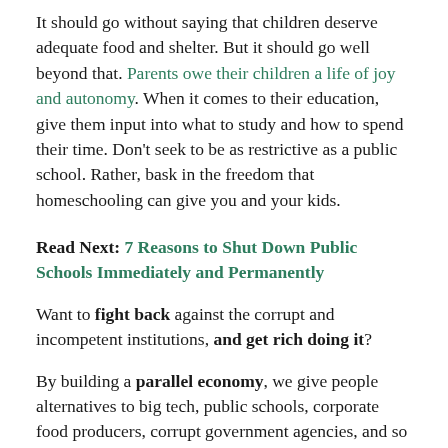It should go without saying that children deserve adequate food and shelter. But it should go well beyond that. Parents owe their children a life of joy and autonomy. When it comes to their education, give them input into what to study and how to spend their time. Don't seek to be as restrictive as a public school. Rather, bask in the freedom that homeschooling can give you and your kids.
Read Next: 7 Reasons to Shut Down Public Schools Immediately and Permanently
Want to fight back against the corrupt and incompetent institutions, and get rich doing it?
By building a parallel economy, we give people alternatives to big tech, public schools, corporate food producers, corrupt government agencies, and so much more.
If you start a parallel economy business, you can take market share (and power) from the bad guys, help people cut their reliance on evil and incompetent institutions, and make